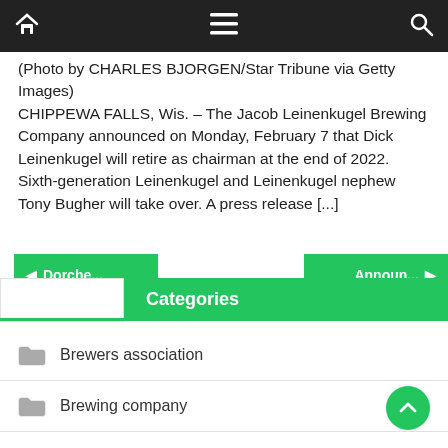Navigation bar with home, menu, and search icons
(Photo by CHARLES BJORGEN/Star Tribune via Getty Images) CHIPPEWA FALLS, Wis. – The Jacob Leinenkugel Brewing Company announced on Monday, February 7 that Dick Leinenkugel will retire as chairman at the end of 2022. Sixth-generation Leinenkugel and Leinenkugel nephew Tony Bugher will take over. A press release [...]
Categories
Brewers association
Brewing company
Online brewery